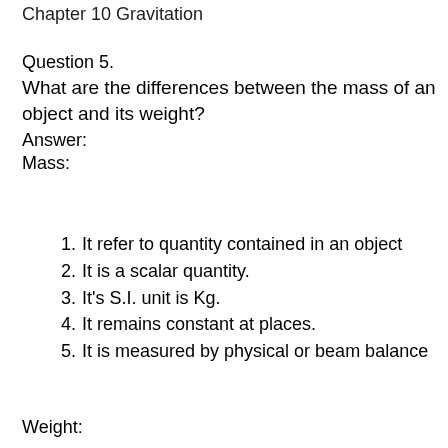Chapter 10 Gravitation
Question 5.
What are the differences between the mass of an object and its weight?
Answer:
Mass:
It refer to quantity contained in an object
It is a scalar quantity.
It's S.I. unit is Kg.
It remains constant at places.
It is measured by physical or beam balance
Weight: